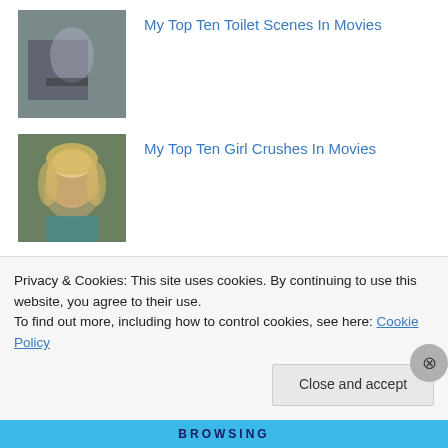My Top Ten Toilet Scenes In Movies
My Top Ten Girl Crushes In Movies
Road House (1989) Review
Privacy & Cookies: This site uses cookies. By continuing to use this website, you agree to their use.
To find out more, including how to control cookies, see here: Cookie Policy
Close and accept